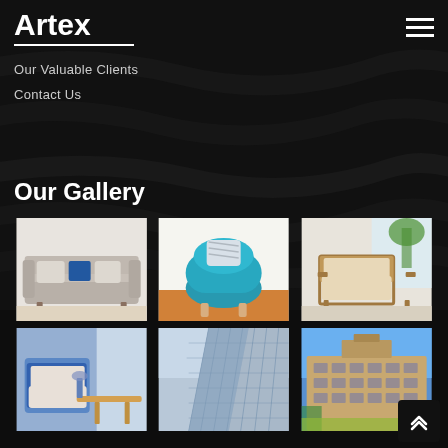Artex
Our Valuable Clients
Contact Us
Our Gallery
[Figure (photo): Gray sofa with blue and white pillows on a light background]
[Figure (photo): Teal/blue round armchair with striped pillow on orange floor]
[Figure (photo): Wooden armchair with beige cushion in bright room with plants]
[Figure (photo): Outdoor patio furniture with blue cushions and wooden table]
[Figure (photo): Looking up at glass skyscraper building from below]
[Figure (photo): Hotel or apartment building exterior with blue sky]